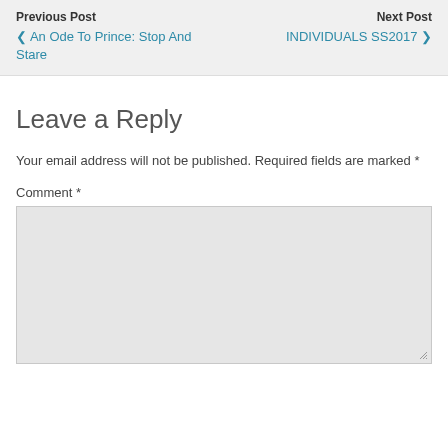Previous Post
◄ An Ode To Prince: Stop And Stare
Next Post
INDIVIDUALS SS2017 ►
Leave a Reply
Your email address will not be published. Required fields are marked *
Comment *